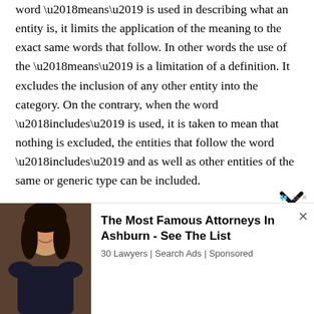word ‘means’ is used in describing what an entity is, it limits the application of the meaning to the exact same words that follow. In other words the use of the ‘means’ is a limitation of a definition. It excludes the inclusion of any other entity into the category. On the contrary, when the word ‘includes’ is used, it is taken to mean that nothing is excluded, the entities that follow the word ‘includes’ and as well as other entities of the same or generic type can be included.
The word ‘means’ limits the class of entities in the category while the word ‘includes’ expands the class.
[Figure (other): Advertisement banner: photo of a woman attorney on left, text on right reading 'The Most Famous Attorneys In Ashburn - See The List' with subtext '30 Lawyers | Search Ads | Sponsored']